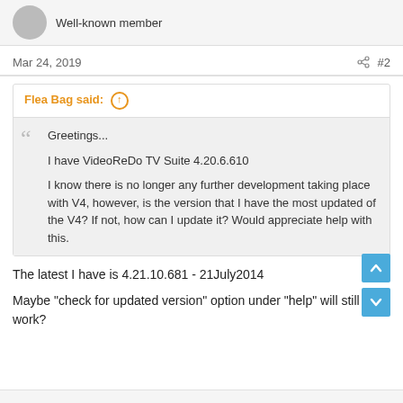Well-known member
Mar 24, 2019  #2
Flea Bag said: ↑
Greetings...
I have VideoReDo TV Suite 4.20.6.610
I know there is no longer any further development taking place with V4, however, is the version that I have the most updated of the V4? If not, how can I update it? Would appreciate help with this.
The latest I have is 4.21.10.681 - 21July2014
Maybe "check for updated version" option under "help" will still work?